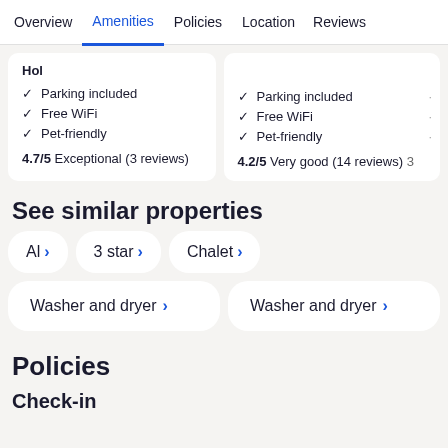Overview | Amenities | Policies | Location | Reviews
Hol
✓ Parking included
✓ Free WiFi
✓ Pet-friendly
4.7/5 Exceptional (3 reviews)
✓ Parking included
✓ Free WiFi
✓ Pet-friendly
4.2/5 Very good (14 reviews)
See similar properties
Al ›
3 star ›
Chalet ›
Washer and dryer ›
Washer and dryer ›
Policies
Check-in